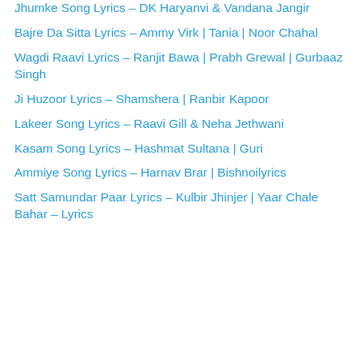Jhumke Song Lyrics – DK Haryanvi & Vandana Jangir
Bajre Da Sitta Lyrics – Ammy Virk | Tania | Noor Chahal
Wagdi Raavi Lyrics – Ranjit Bawa | Prabh Grewal | Gurbaaz Singh
Ji Huzoor Lyrics – Shamshera | Ranbir Kapoor
Lakeer Song Lyrics – Raavi Gill & Neha Jethwani
Kasam Song Lyrics – Hashmat Sultana | Guri
Ammiye Song Lyrics – Harnav Brar | Bishnoilyrics
Satt Samundar Paar Lyrics – Kulbir Jhinjer | Yaar Chale Bahar – Lyrics